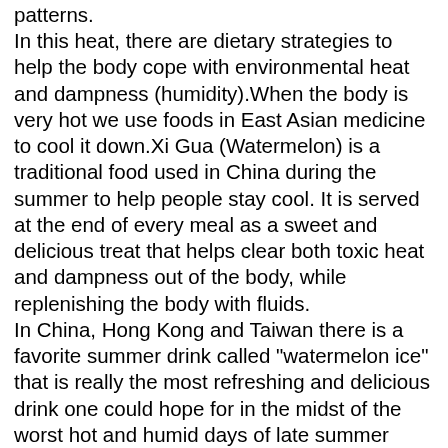patterns. In this heat, there are dietary strategies to help the body cope with environmental heat and dampness (humidity).When the body is very hot we use foods in East Asian medicine to cool it down.Xi Gua (Watermelon) is a traditional food used in China during the summer to help people stay cool. It is served at the end of every meal as a sweet and delicious treat that helps clear both toxic heat and dampness out of the body, while replenishing the body with fluids. In China, Hong Kong and Taiwan there is a favorite summer drink called "watermelon ice" that is really the most refreshing and delicious drink one could hope for in the midst of the worst hot and humid days of late summer which we refer to as summerheat damp season. Here's the recipe: Take 3 slices of watermelon and remove seeds and rind.Place in a blender along with 2 cups of ice.Add 1 tbsp of cane sugar and 1/4 cup of water Blend ingredients together.garnish with mint leaves This is a delicious, cooling and hydrating drink. If you have a weak digestion do not over-indulge in this treat.